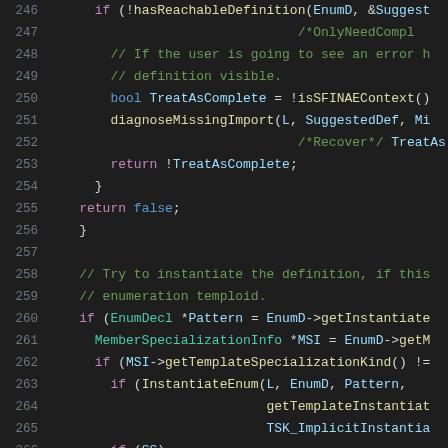[Figure (screenshot): Source code viewer showing C++ code lines 246–266 with syntax highlighting on dark background. Line numbers in grey on left, code in various colors (white, purple, teal, green, yellow) on right.]